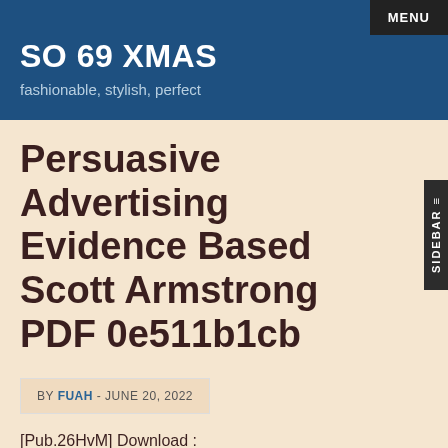MENU
SO 69 XMAS
fashionable, stylish, perfect
Persuasive Advertising Evidence Based Scott Armstrong PDF 0e511b1cb
BY FUAH - JUNE 20, 2022
[Pub.26HvM] Download :